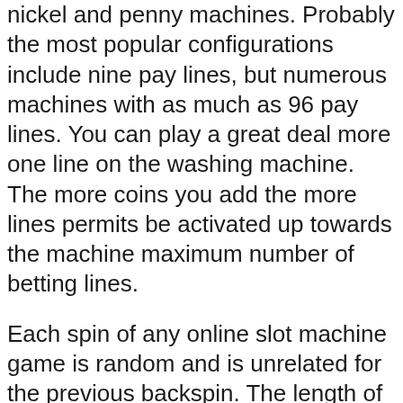nickel and penny machines. Probably the most popular configurations include nine pay lines, but numerous machines with as much as 96 pay lines. You can play a great deal more one line on the washing machine. The more coins you add the more lines permits be activated up towards the machine maximum number of betting lines.
Each spin of any online slot machine game is random and is unrelated for the previous backspin. The length of time a slot is played without winning has no influence on its readiness to pay. Any slot can go months or years without having to pay its top jackpot. It maintains the programmed payoff percentage with paying smaller wins.
A player just downloads the game and clicks the ‘tournament’ button inside of the lobby of this